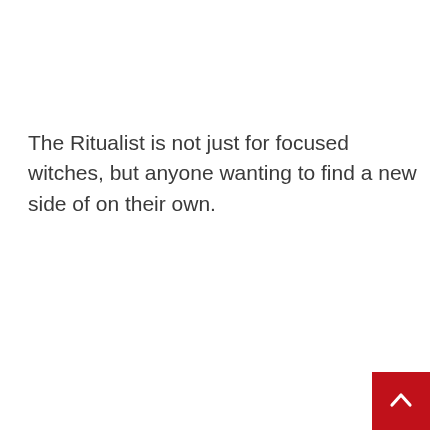The Ritualist is not just for focused witches, but anyone wanting to find a new side of on their own.
[Figure (other): Red square button with white upward-pointing chevron arrow (back to top button)]